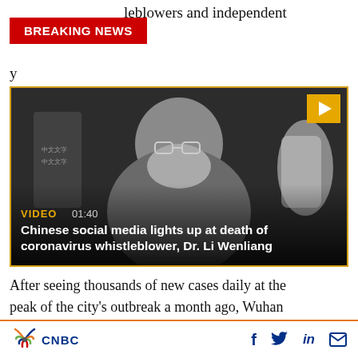…leblowers and independent
BREAKING NEWS
y
[Figure (screenshot): Black and white video thumbnail of a person wearing glasses and a face mask, with VIDEO 01:40 label and title: Chinese social media lights up at death of coronavirus whistleblower, Dr. Li Wenliang]
VIDEO 01:40
Chinese social media lights up at death of coronavirus whistleblower, Dr. Li Wenliang
After seeing thousands of new cases daily at the peak of the city's outbreak a month ago, Wuhan
CNBC  f  in